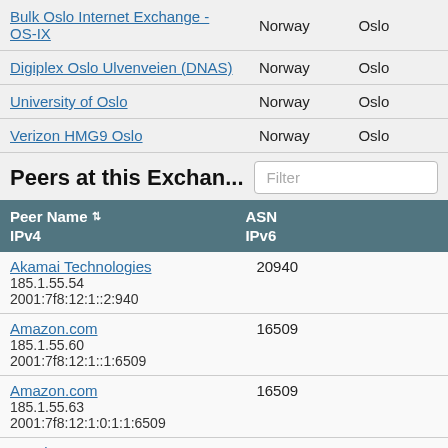| Name | Country | City |
| --- | --- | --- |
| Bulk Oslo Internet Exchange - OS-IX | Norway | Oslo |
| Digiplex Oslo Ulvenveien (DNAS) | Norway | Oslo |
| University of Oslo | Norway | Oslo |
| Verizon HMG9 Oslo | Norway | Oslo |
Peers at this Exchan...
| Peer Name | ASN | IPv4 | IPv6 |
| --- | --- | --- | --- |
| Akamai Technologies | 20940 | 185.1.55.54 | 2001:7f8:12:1::2:940 |
| Amazon.com | 16509 | 185.1.55.60 | 2001:7f8:12:1::1:6509 |
| Amazon.com | 16509 | 185.1.55.63 | 2001:7f8:12:1:0:1:1:6509 |
| Anexia | 42473 |  |  |